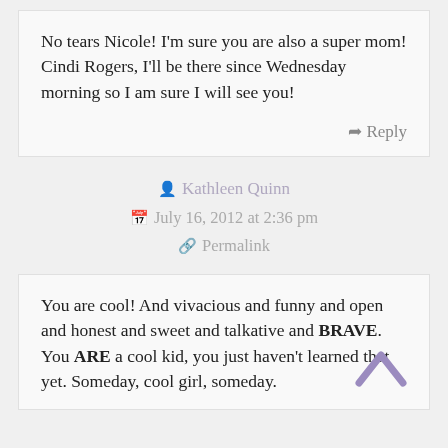No tears Nicole! I'm sure you are also a super mom! Cindi Rogers, I'll be there since Wednesday morning so I am sure I will see you!
Reply
Kathleen Quinn
July 16, 2012 at 2:36 pm
Permalink
You are cool! And vivacious and funny and open and honest and sweet and talkative and BRAVE.
You ARE a cool kid, you just haven't learned that yet. Someday, cool girl, someday.